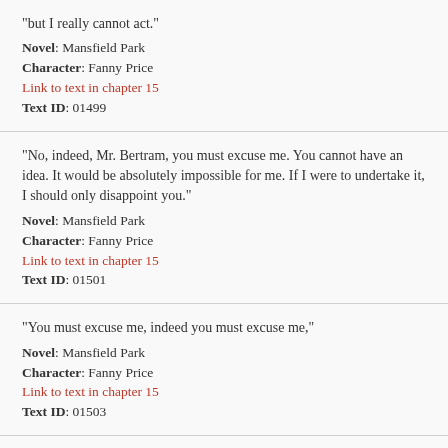"but I really cannot act."
Novel: Mansfield Park
Character: Fanny Price
Link to text in chapter 15
Text ID: 01499
"No, indeed, Mr. Bertram, you must excuse me. You cannot have an idea. It would be absolutely impossible for me. If I were to undertake it, I should only disappoint you."
Novel: Mansfield Park
Character: Fanny Price
Link to text in chapter 15
Text ID: 01501
"You must excuse me, indeed you must excuse me,"
Novel: Mansfield Park
Character: Fanny Price
Link to text in chapter 15
Text ID: 01503